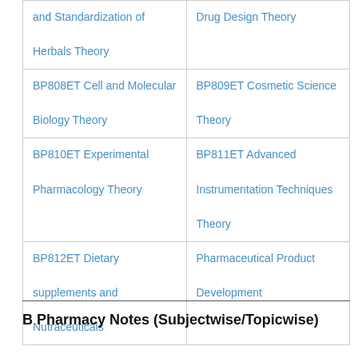| and Standardization of Herbals Theory | Drug Design Theory |
| BP808ET Cell and Molecular Biology Theory | BP809ET Cosmetic Science Theory |
| BP810ET Experimental Pharmacology Theory | BP811ET Advanced Instrumentation Techniques Theory |
| BP812ET Dietary supplements and Nutraceuticals | Pharmaceutical Product Development |
B Pharmacy Notes (Subjectwise/Topicwise)